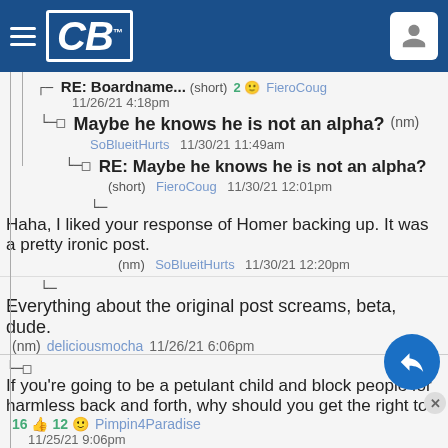[Figure (screenshot): CougarBoard forum thread screenshot with header bar showing CB logo]
RE: Boardname... (short) 2 FieroCoug 11/26/21 4:18pm
Maybe he knows he is not an alpha? (nm) SoBlueitHurts 11/30/21 11:49am
RE: Maybe he knows he is not an alpha? (short) FieroCoug 11/30/21 12:01pm
Haha, I liked your response of Homer backing up. It was a pretty ironic post. (nm) SoBlueitHurts 11/30/21 12:20pm
Everything about the original post screams, beta, dude. (nm) deliciousmocha 11/26/21 6:06pm
If you're going to be a petulant child and block people for harmless back and forth, why should you get the right to 16 12 Pimpin4Paradise 11/25/21 9:06pm
Some might consider drinking bathro water an alpha move. (short) 9 CougarFanDevourer 11/25/21 11:34pm
Only if you drink from the toilet and mark your